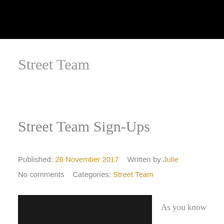Street Team
Street Team Sign-Ups
Published: 26 November 2017    Written by Julie
No comments    Categories: Street Team
[Figure (photo): Dark photograph, partially visible at bottom of page]
As you know